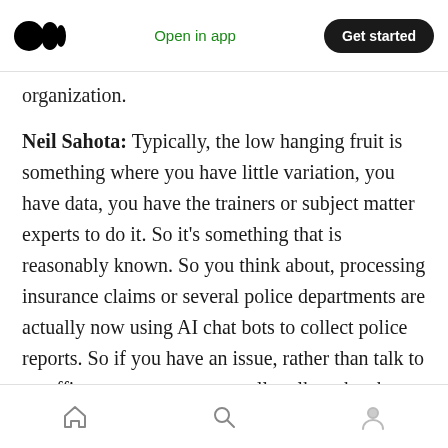Open in app | Get started
organization.
Neil Sahota: Typically, the low hanging fruit is something where you have little variation, you have data, you have the trainers or subject matter experts to do it. So it’s something that is reasonably known. So you think about, processing insurance claims or several police departments are actually now using AI chat bots to collect police reports. So if you have an issue, rather than talk to an officer now, you can actually talk to the chat bot, it’ll actually collect all the pertinent information by prompting you
Home | Search | Profile